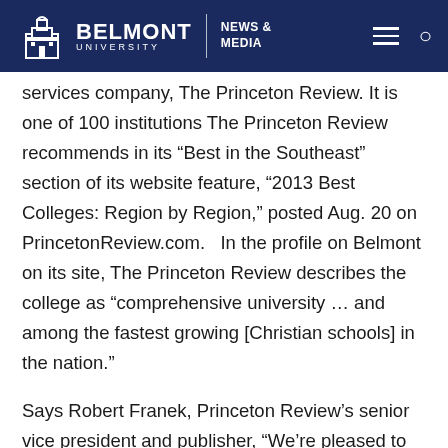Belmont University | News & Media
services company, The Princeton Review. It is one of 100 institutions The Princeton Review recommends in its “Best in the Southeast” section of its website feature, “2013 Best Colleges: Region by Region,” posted Aug. 20 on PrincetonReview.com.   In the profile on Belmont on its site, The Princeton Review describes the college as “comprehensive university … and among the fastest growing [Christian schools] in the nation.”
Says Robert Franek, Princeton Review’s senior vice president and publisher, “We’re pleased to recommend Belmont to users of our site as one of the best schools to earn their undergrad degree. We chose it and the other terrific institutions we name as ‘regional best’ colleges mainly for their excellent academic programs. From several hundred schools in each region, we winnowed our list based on